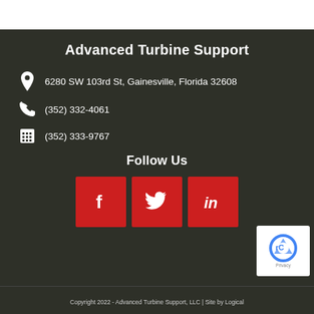Advanced Turbine Support
6280 SW 103rd St, Gainesville, Florida 32608
(352) 332-4061
(352) 333-9767
Follow Us
[Figure (infographic): Social media icons: Facebook, Twitter, LinkedIn — red square buttons with white icons]
[Figure (other): reCAPTCHA privacy badge in bottom right corner]
Copyright 2022 - Advanced Turbine Support, LLC | Site by Logical